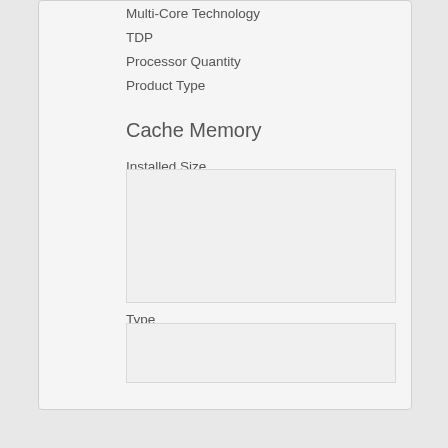Multi-Core Technology
TDP
Processor Quantity
Product Type
Cache Memory
Installed Size
Type